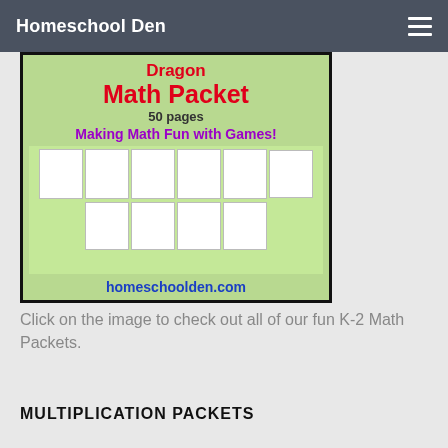Homeschool Den
[Figure (illustration): Dragon Math Packet advertisement image showing text 'Dragon Math Packet 50 pages Making Math Fun with Games!' with sample worksheet pages and homeschoolden.com URL]
Click on the image to check out all of our fun K-2 Math Packets.
MULTIPLICATION PACKETS